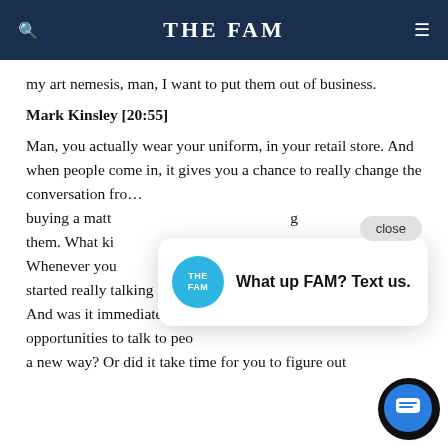THE FAM
my art nemesis, man, I want to put them out of business.
Mark Kinsley [20:55]
Man, you actually wear your uniform, in your retail store. And when people come in, it gives you a chance to really change the conversation fro... buying a matt... them. What ki... Whenever you... started really talking about the purpose behind the product? And was it immediate? Did you immediately have opportunities to talk to peo... a new way? Or did it take time for you to figure out